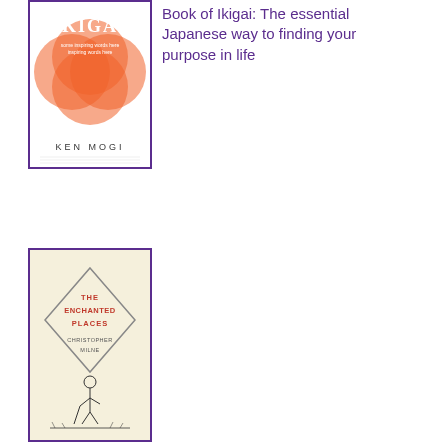[Figure (illustration): Book cover of Ikigai by Ken Mogi with orange circular patterns on white background, purple border]
Book of Ikigai: The essential Japanese way to finding your purpose in life
[Figure (illustration): Book cover of The Enchanted Places by Christopher Milne, cream background with diamond logo and sketch of a boy, purple border]
Christopher Milne: The Enchanted Places: A Childhood Memoir
[Figure (illustration): Book cover of Philip Pullman book, red background with author name in black text]
Philip Pullman: Imaginary